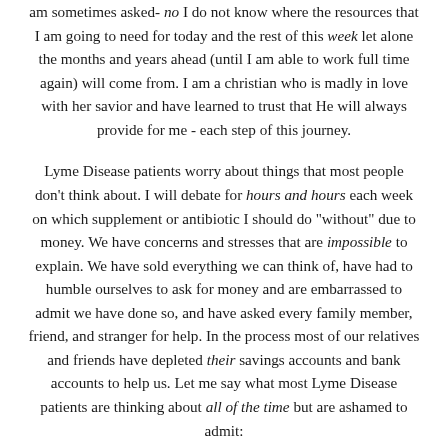am sometimes asked- no I do not know where the resources that I am going to need for today and the rest of this week let alone the months and years ahead (until I am able to work full time again) will come from. I am a christian who is madly in love with her savior and have learned to trust that He will always provide for me - each step of this journey.
Lyme Disease patients worry about things that most people don't think about. I will debate for hours and hours each week on which supplement or antibiotic I should do "without" due to money. We have concerns and stresses that are impossible to explain. We have sold everything we can think of, have had to humble ourselves to ask for money and are embarrassed to admit we have done so, and have asked every family member, friend, and stranger for help. In the process most of our relatives and friends have depleted their savings accounts and bank accounts to help us. Let me say what most Lyme Disease patients are thinking about all of the time but are ashamed to admit:
We don't care about the battles of politics and insurance.